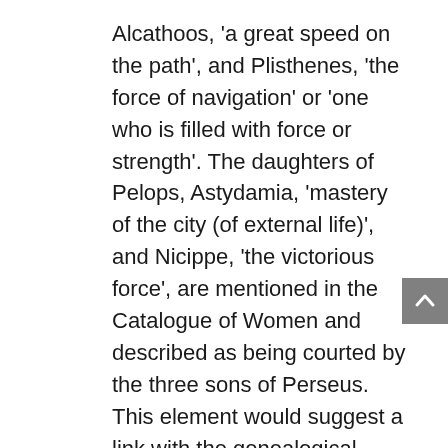Alcathoos, 'a great speed on the path', and Plisthenes, 'the force of navigation' or 'one who is filled with force or strength'. The daughters of Pelops, Astydamia, 'mastery of the city (of external life)', and Nicippe, 'the victorious force', are mentioned in the Catalogue of Women and described as being courted by the three sons of Perseus. This element would suggest a link with the genealogical branch that symbolises a victory over fear.
Chrysippos 'golden vital energy', an illegitimate son of Pelops who Laios had fallen in love with, has already been discussed in the second chapter of this work. He died either by suicide, by a murder